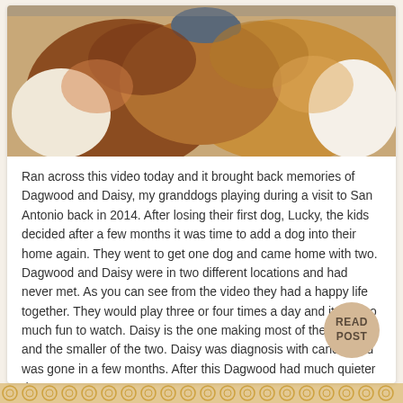[Figure (photo): Close-up photo of two dogs (Dagwood and Daisy), brown and white colored dogs playing together, one wearing a blue/grey hat or collar visible at top]
Ran across this video today and it brought back memories of Dagwood and Daisy, my granddogs playing during a visit to San Antonio back in 2014. After losing their first dog, Lucky, the kids decided after a few months it was time to add a dog into their home again. They went to get one dog and came home with two. Dagwood and Daisy were in two different locations and had never met. As you can see from the video they had a happy life together. They would play three or four times a day and it was so much fun to watch. Daisy is the one making most of the noise and the smaller of the two. Daisy was diagnosis with cancer and was gone in a few months. After this Dagwood had much quieter days.